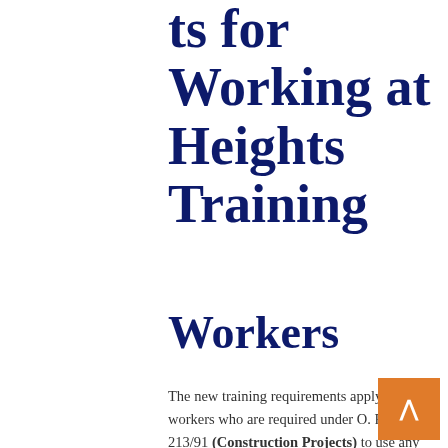ts for Working at Heights Training
Workers
The new training requirements apply to workers who are required under O. Reg. 213/91 (Construction Projects) to use any of the following methods of fall protection: